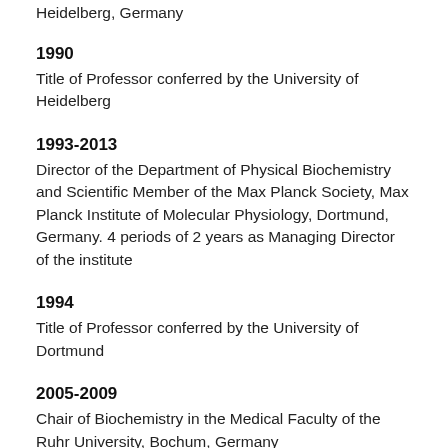Heidelberg, Germany
1990
Title of Professor conferred by the University of Heidelberg
1993-2013
Director of the Department of Physical Biochemistry and Scientific Member of the Max Planck Society, Max Planck Institute of Molecular Physiology, Dortmund, Germany. 4 periods of 2 years as Managing Director of the institute
1994
Title of Professor conferred by the University of Dortmund
2005-2009
Chair of Biochemistry in the Medical Faculty of the Ruhr University, Bochum, Germany